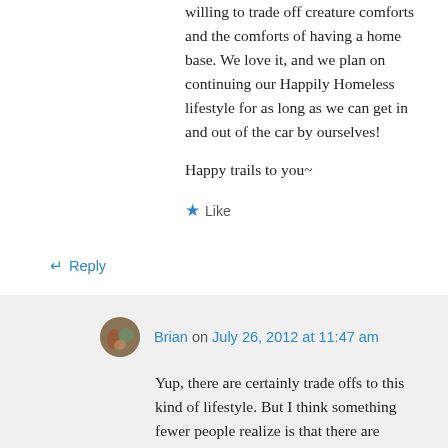willing to trade off creature comforts and the comforts of having a home base. We love it, and we plan on continuing our Happily Homeless lifestyle for as long as we can get in and out of the car by ourselves!
Happy trails to you~
★ Like
↵ Reply
Brian on July 26, 2012 at 11:47 am
Yup, there are certainly trade offs to this kind of lifestyle. But I think something fewer people realize is that there are tradeoffs in every kind of lifestyle. The folks working to